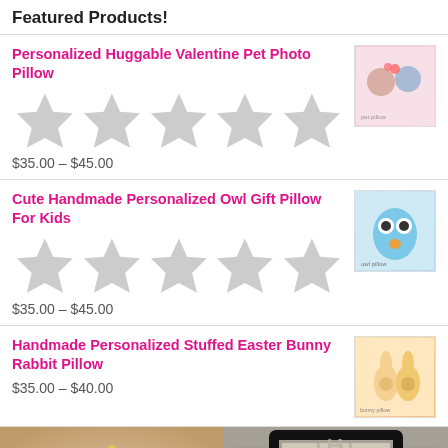Featured Products!
Personalized Huggable Valentine Pet Photo Pillow
$35.00 – $45.00
Cute Handmade Personalized Owl Gift Pillow For Kids
$35.00 – $45.00
Handmade Personalized Stuffed Easter Bunny Rabbit Pillow
$35.00 – $40.00
[Figure (photo): Sunflower decoration photo on wooden background]
[Figure (photo): Framed handprint art on vintage script paper background]